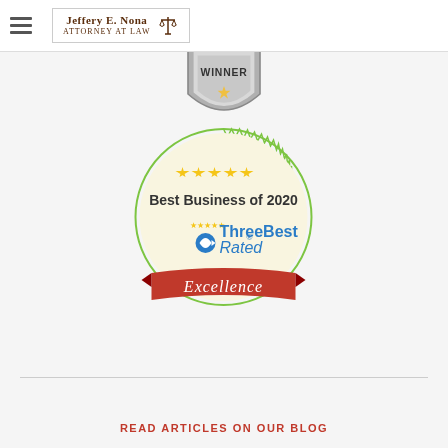[Figure (logo): Jeffery E. Nona Attorney At Law logo with scales of justice icon]
[Figure (illustration): Winner shield badge, partially cropped at top, silver and black]
[Figure (illustration): ThreeBest Rated Best Business of 2020 Excellence badge — gold stars, green serrated circle border, red Excellence ribbon]
READ ARTICLES ON OUR BLOG